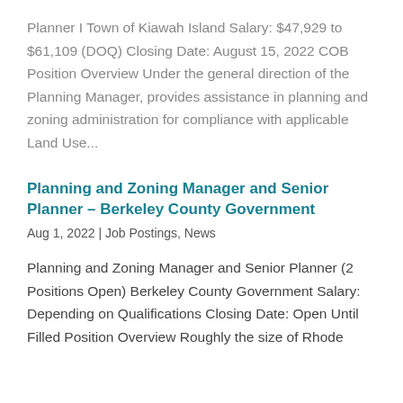Planner I Town of Kiawah Island Salary: $47,929 to $61,109 (DOQ) Closing Date: August 15, 2022 COB Position Overview Under the general direction of the Planning Manager, provides assistance in planning and zoning administration for compliance with applicable Land Use...
Planning and Zoning Manager and Senior Planner – Berkeley County Government
Aug 1, 2022 | Job Postings, News
Planning and Zoning Manager and Senior Planner (2 Positions Open) Berkeley County Government Salary: Depending on Qualifications Closing Date: Open Until Filled Position Overview Roughly the size of Rhode